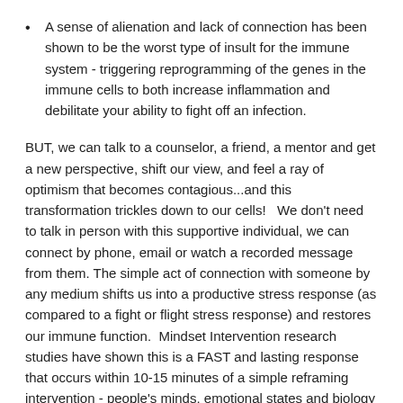A sense of alienation and lack of connection has been shown to be the worst type of insult for the immune system - triggering reprogramming of the genes in the immune cells to both increase inflammation and debilitate your ability to fight off an infection.
BUT, we can talk to a counselor, a friend, a mentor and get a new perspective, shift our view, and feel a ray of optimism that becomes contagious...and this transformation trickles down to our cells!   We don't need to talk in person with this supportive individual, we can connect by phone, email or watch a recorded message from them. The simple act of connection with someone by any medium shifts us into a productive stress response (as compared to a fight or flight stress response) and restores our immune function.  Mindset Intervention research studies have shown this is a FAST and lasting response that occurs within 10-15 minutes of a simple reframing intervention - people's minds, emotional states and biology shift, clearing all the adversity of chronic stress including strain on the cardiovascular system and reversing the